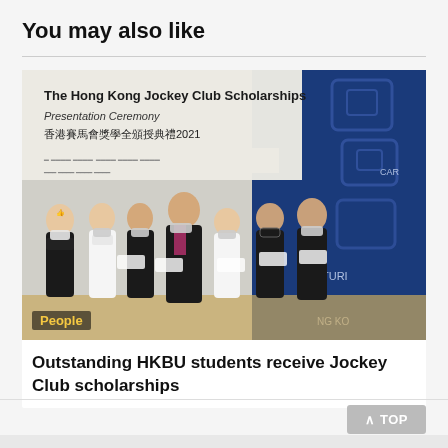You may also like
[Figure (photo): Group photo at The Hong Kong Jockey Club Scholarships Presentation Ceremony 香港賽馬會獎學金頒授典禮2021. Seven people wearing masks giving thumbs up in front of a blue backdrop with event branding. A 'People' tag is visible in the lower left.]
Outstanding HKBU students receive Jockey Club scholarships